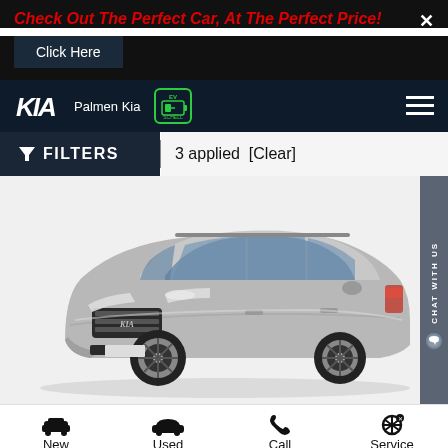Check Out The Perfect Car, At The Perfect Price!
Click Here
[Figure (screenshot): Palmen Kia dealership website screenshot showing navigation bar with Kia logo, Palmen Kia text, EV charging badge, hamburger menu, a filter bar showing '3 applied [Clear]', a silver Kia Seltos SUV car image, a 'CHAT WITH US' sidebar, and a bottom navigation bar with New, Used, Call, and Service icons.]
3 applied  [Clear]
New
Used
Call
Service